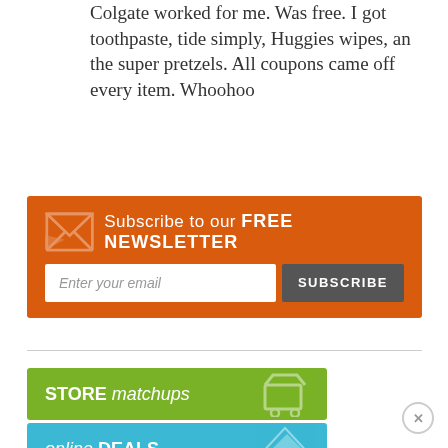Colgate worked for me. Was free. I got toothpaste, tide simply, Huggies wipes, an the super pretzels. All coupons came off every item. Whoohoo
[Figure (infographic): Orange banner for subscribing to free newsletter with email input field and subscribe button]
[Figure (infographic): Navigation buttons: STORE matchups (green), online DEALS (blue), print COUPONS (orange), COUPON database (gray) with icons]